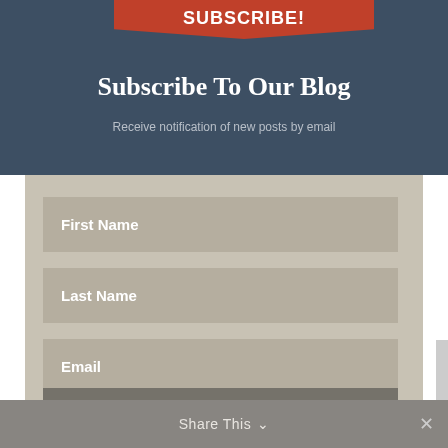SUBSCRIBE!
Subscribe To Our Blog
Receive notification of new posts by email
First Name
Last Name
Email
SUBSCRIBE!
Share This ∨